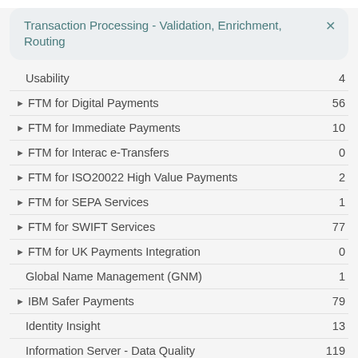Transaction Processing - Validation, Enrichment, Routing
Usability   4
FTM for Digital Payments   56
FTM for Immediate Payments   10
FTM for Interac e-Transfers   0
FTM for ISO20022 High Value Payments   2
FTM for SEPA Services   1
FTM for SWIFT Services   77
FTM for UK Payments Integration   0
Global Name Management (GNM)   1
IBM Safer Payments   79
Identity Insight   13
Information Server - Data Quality   119